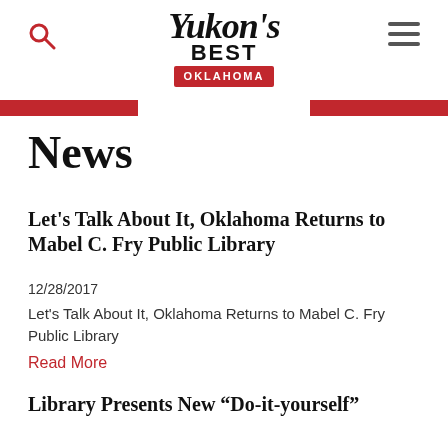Yukon's Best Oklahoma
News
Let's Talk About It, Oklahoma Returns to Mabel C. Fry Public Library
12/28/2017
Let's Talk About It, Oklahoma Returns to Mabel C. Fry Public Library
Read More
Library Presents New “Do-it-yourself”